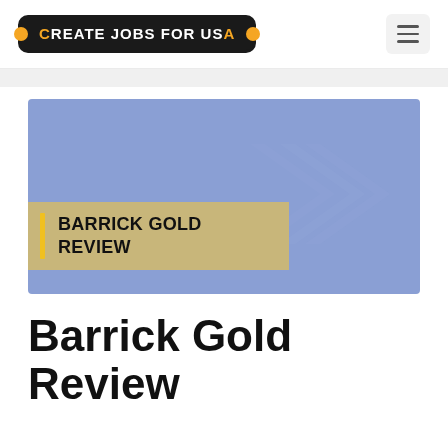CREATE JOBS FOR USA
[Figure (illustration): Blue banner image with decorative background shapes and a gold/tan colored bar with yellow left accent showing text 'BARRICK GOLD REVIEW' in bold black uppercase letters]
Barrick Gold Review